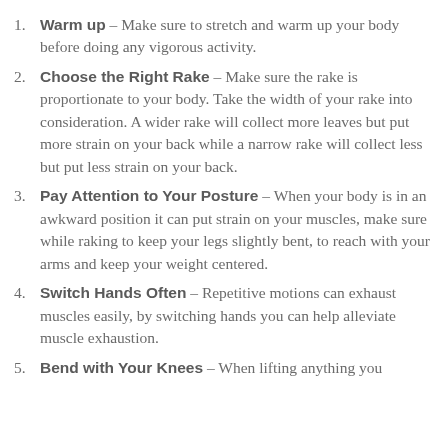Warm up – Make sure to stretch and warm up your body before doing any vigorous activity.
Choose the Right Rake – Make sure the rake is proportionate to your body. Take the width of your rake into consideration. A wider rake will collect more leaves but put more strain on your back while a narrow rake will collect less but put less strain on your back.
Pay Attention to Your Posture – When your body is in an awkward position it can put strain on your muscles, make sure while raking to keep your legs slightly bent, to reach with your arms and keep your weight centered.
Switch Hands Often – Repetitive motions can exhaust muscles easily, by switching hands you can help alleviate muscle exhaustion.
Bend with Your Knees – When lifting anything you